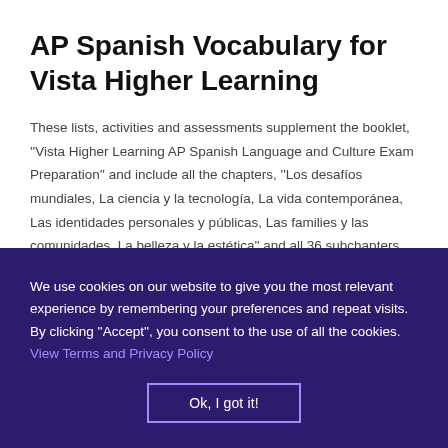AP Spanish Vocabulary for Vista Higher Learning
These lists, activities and assessments supplement the booklet, ''Vista Higher Learning AP Spanish Language and Culture Exam Preparation'' and include all the chapters, ''Los desafíos mundiales, La ciencia y la tecnología, La vida contemporánea, Las identidades personales y públicas, Las families y las comunidades, La belleza y la estética'' and all 36 subchapters. They include synonyms, definitions, use in context, academic language, idioms, regional expressions, images, maps, cultural
We use cookies on our website to give you the most relevant experience by remembering your preferences and repeat visits. By clicking ''Accept'', you consent to the use of all the cookies. View Terms and Privacy Policy